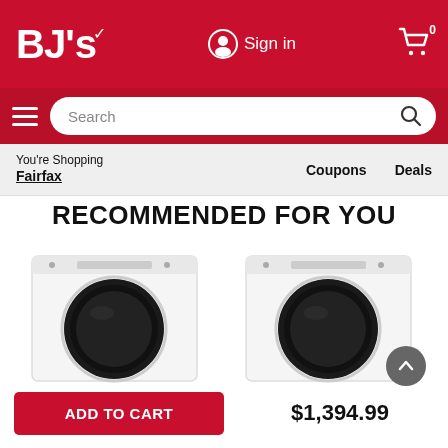BJ's — Sign in — Cart 0
Search
You're Shopping Fairfax | Coupons | Deals
RECOMMENDED FOR YOU
[Figure (photo): Whirlpool front-load washer/dryer, white with black door, left product]
[Figure (photo): Whirlpool front-load washer/dryer, white with black door, right product]
ADD TO CART
$1,394.99